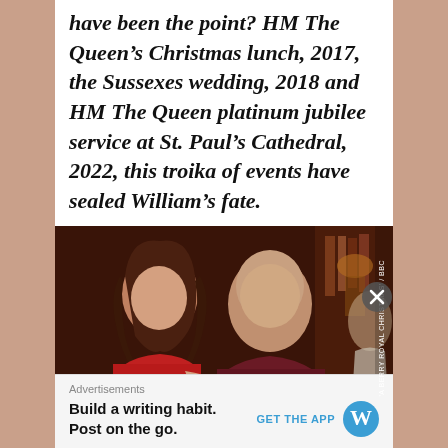have been the point? HM The Queen's Christmas lunch, 2017, the Sussexes wedding, 2018 and HM The Queen platinum jubilee service at St. Paul's Cathedral, 2022, this troika of events have sealed William's fate.
[Figure (photo): Photo of a woman in a red dress and a bald man in a burgundy sweater sitting together, appearing to be from a TV programme. Watermark reads 'A BERRY ROYAL CHRISTMAS / BBC'.]
Advertisements
Build a writing habit. Post on the go.
GET THE APP